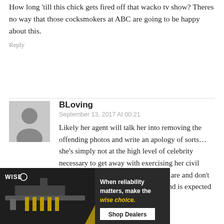How long 'till this chick gets fired off that wacko tv show? Theres no way that those cocksmokers at ABC are going to be happy about this.
Reply
BLoving
September 13, 2017 At 00:21
Likely her agent will talk her into removing the offending photos and write an apology of sorts… she's simply not at the high level of celebrity necessary to get away with exercising her civil rights yet. A few high-ranking actors are and don't catch flak but she's still a small fry and is expected to toe the line or get …kend… just
[Figure (advertisement): WISE brand advertisement showing a rifle and ammunition with text: 'When reliability matters, make the wise choice. Shop Dealers']